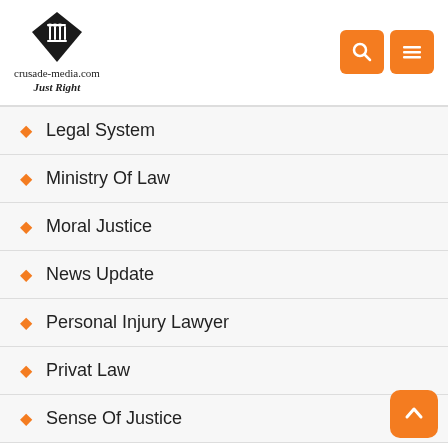[Figure (logo): crusade-media.com Just Right logo with diamond/pillar icon]
Legal System
Ministry Of Law
Moral Justice
News Update
Personal Injury Lawyer
Privat Law
Sense Of Justice